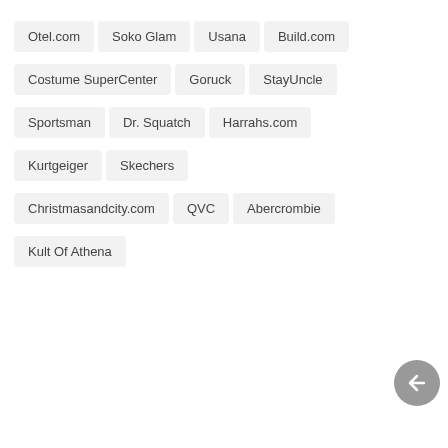Otel.com
Soko Glam
Usana
Build.com
Costume SuperCenter
Goruck
StayUncle
Sportsman
Dr. Squatch
Harrahs.com
Kurtgeiger
Skechers
Christmasandcity.com
QVC
Abercrombie
Kult Of Athena